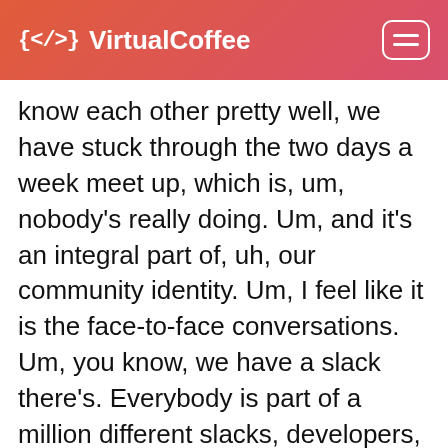{</> VirtualCoffee
know each other pretty well, we have stuck through the two days a week meet up, which is, um, nobody's really doing. Um, and it's an integral part of, uh, our community identity. Um, I feel like it is the face-to-face conversations. Um, you know, we have a slack there's. Everybody is part of a million different slacks, developers, slacks, or, you know, Discord stuff like that. Um, and one of the nice things about our slack is that I've seen all these people's faces. You know, I I've talked to them, um, you know, in, in not just like sitting next to them at some presentation or not, you know, anything like that. Right. It's